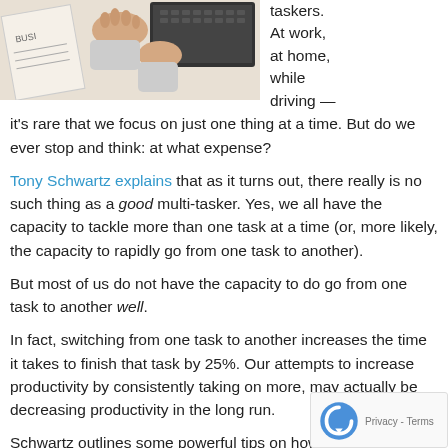[Figure (photo): A person's hands working at a desk with a laptop and papers, viewed from above. Text 'BUSI...' visible on paper.]
taskers. At work, at home, while driving — it's rare that we focus on just one thing at a time. But do we ever stop and think: at what expense?
Tony Schwartz explains that as it turns out, there really is no such thing as a good multi-tasker. Yes, we all have the capacity to tackle more than one task at a time (or, more likely, the capacity to rapidly go from one task to another).
But most of us do not have the capacity to do go from one task to another well.
In fact, switching from one task to another increases the time it takes to finish that task by 25%. Our attempts to increase productivity by consistently taking on more, may actually be decreasing productivity in the long run.
Schwartz outlines some powerful tips on how those in leadership roles can cultivate a "single-tasker" mentality:
Schedule shorter meetings
Cutting your meetings down to 45 minutes (rather than an